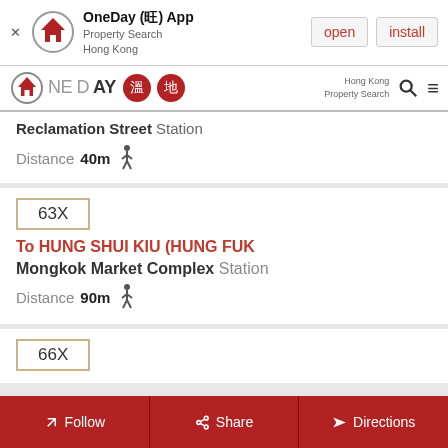[Figure (screenshot): OneDay app install banner with logo, app name, Property Search Hong Kong subtitle, open and install buttons]
[Figure (screenshot): OneDay Hong Kong Property Search navigation bar with logo, Chinese badges, search icon and menu icon]
Reclamation Street Station
Distance 40m (walking icon)
63X
To HUNG SHUI KIU (HUNG FUK
Mongkok Market Complex Station
Distance 90m (walking icon)
66X
Follow  Share  Directions